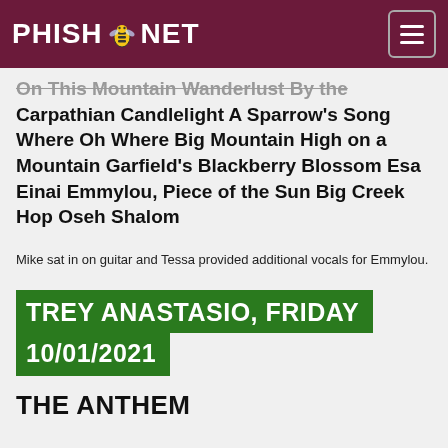PHISH.NET
On This Mountain Wanderlust By the Carpathian Candlelight A Sparrow's Song Where Oh Where Big Mountain High on a Mountain Garfield's Blackberry Blossom Esa Einai Emmylou, Piece of the Sun Big Creek Hop Oseh Shalom
Mike sat in on guitar and Tessa provided additional vocals for Emmylou.
TREY ANASTASIO, FRIDAY 10/01/2021
THE ANTHEM